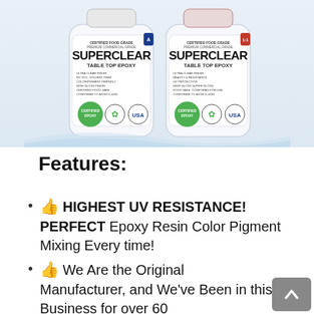[Figure (photo): Two white bottles of SuperClear Table Top Epoxy side by side, with green certified epoxy badges and USA-made seals on their labels]
Features:
👍 HIGHEST UV RESISTANCE! PERFECT Epoxy Resin Color Pigment Mixing Every time!
👍 We Are the Original Manufacturer, and We've Been in this Business for over 60